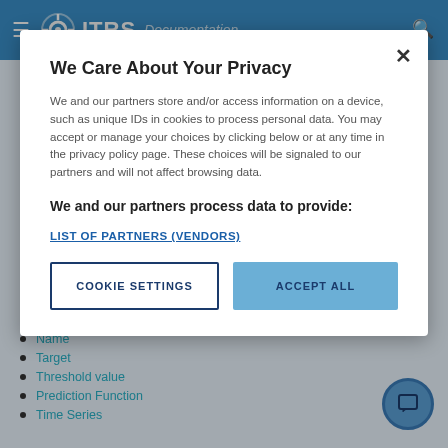ITRS Documentation
We Care About Your Privacy
We and our partners store and/or access information on a device, such as unique IDs in cookies to process personal data. You may accept or manage your choices by clicking below or at any time in the privacy policy page. These choices will be signaled to our partners and will not affect browsing data.
We and our partners process data to provide:
LIST OF PARTNERS (VENDORS)
COOKIE SETTINGS
ACCEPT ALL
for a predictor. This presents options for the following:
Name
Target
Threshold value
Prediction Function
Time Series